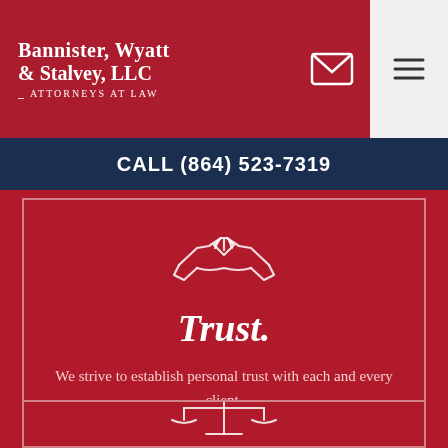Bannister, Wyatt & Stalvey, LLC — Attorneys At Law
CALL (864) 523-7319
[Figure (illustration): White line-art handshake icon on dark red background]
Trust.
We strive to establish personal trust with each and every client.
[Figure (illustration): White line-art scales of justice icon on dark red background, partially visible at bottom of page]